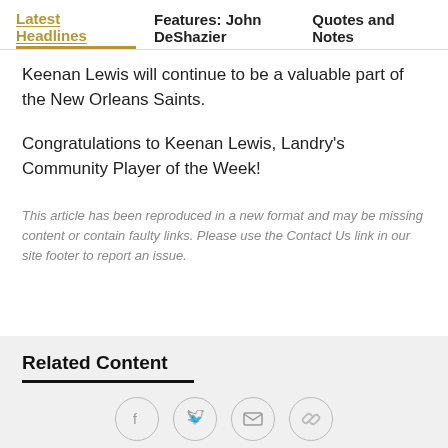Latest Headlines   Features: John DeShazier   Quotes and Notes
Keenan Lewis will continue to be a valuable part of the New Orleans Saints.
Congratulations to Keenan Lewis, Landry's Community Player of the Week!
This article has been reproduced in a new format and may be missing content or contain faulty links. Please use the Contact Us link in our site footer to report an issue.
Related Content